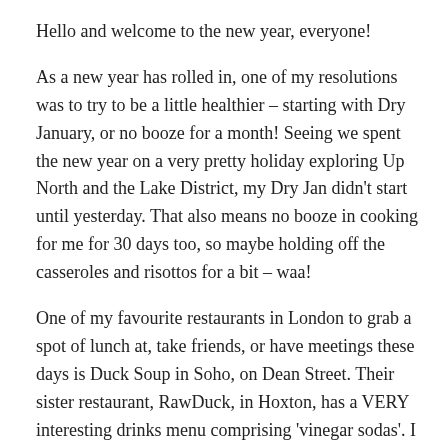Hello and welcome to the new year, everyone!
As a new year has rolled in, one of my resolutions was to try to be a little healthier – starting with Dry January, or no booze for a month! Seeing we spent the new year on a very pretty holiday exploring Up North and the Lake District, my Dry Jan didn't start until yesterday. That also means no booze in cooking for me for 30 days too, so maybe holding off the casseroles and risottos for a bit – waa!
One of my favourite restaurants in London to grab a spot of lunch at, take friends, or have meetings these days is Duck Soup in Soho, on Dean Street. Their sister restaurant, RawDuck, in Hoxton, has a VERY interesting drinks menu comprising 'vinegar sodas'. I remembered this this morning, casting around for something interesting to drink and landing on the vinegar shelf in the kitchen (my Mrs is a chef, what can I say, our